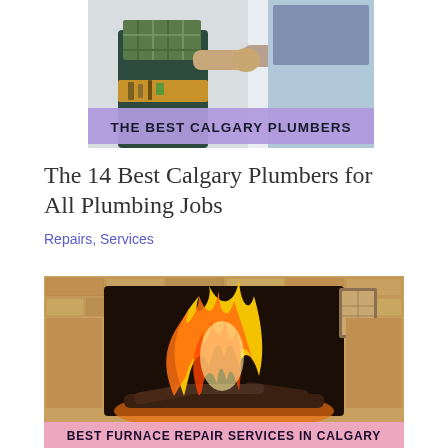[Figure (photo): Photo of a plumber in work overalls with a tool belt shaking hands with a customer, with a purple banner overlay reading 'THE BEST CALGARY PLUMBERS' in bold black text.]
The 14 Best Calgary Plumbers for All Plumbing Jobs
Repairs, Services
[Figure (photo): Photo of a fireplace with bright flames and burning logs inside a brick firebox, with a pink/purple banner overlay at the bottom reading 'BEST FURNACE REPAIR SERVICES IN CALGARY' in bold dark text.]